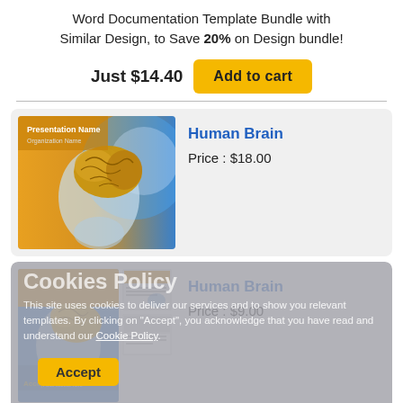Word Documentation Template Bundle with Similar Design, to Save 20% on Design bundle!
Just $14.40  Add to cart
[Figure (illustration): Human Brain PowerPoint template preview image - brain inside translucent human head, orange and blue design]
Human Brain
Price : $18.00
Cookies Policy
This site uses cookies to deliver our services and to show you relevant templates. By clicking on "Accept", you acknowledge that you have read and understand our Cookie Policy.
Accept
[Figure (illustration): Human Brain Word Document template bundle - main and two thumbnail previews, blue and orange design]
Human Brain
Price : $9.00